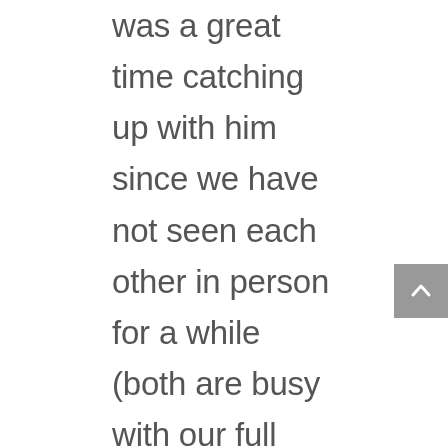was a great time catching up with him since we have not seen each other in person for a while (both are busy with our full time jobs). Joy and I met in 2013 when she was visiting, but also was planning to move here on Maui.  This year, she and her husband made the move! Check out her Facebook Page "Trusting Signs, Finding Joy"  to learn more about her journey to/on Maui. It was wonderful getting to know her a bit more and nice getting